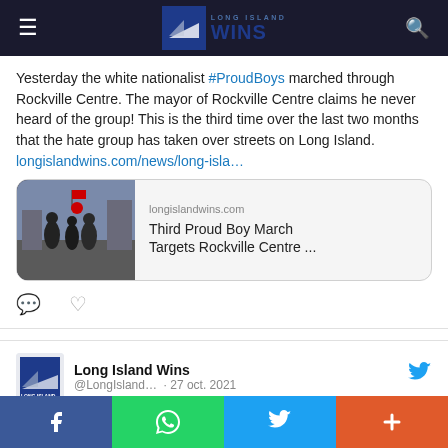Long Island Wins
Yesterday the white nationalist #ProudBoys marched through Rockville Centre. The mayor of Rockville Centre claims he never heard of the group! This is the third time over the last two months that the hate group has taken over streets on Long Island. longislandwins.com/news/long-isla…
[Figure (screenshot): Link preview card showing longislandwins.com article titled 'Third Proud Boy March Targets Rockville Centre ...' with a photo of people marching]
Long Island Wins @LongIsland… · 27 oct. 2021
Social share bar: Facebook, WhatsApp, Twitter, More